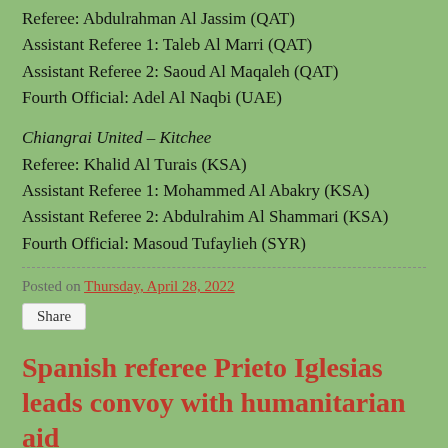Referee: Abdulrahman Al Jassim (QAT)
Assistant Referee 1: Taleb Al Marri (QAT)
Assistant Referee 2: Saoud Al Maqaleh (QAT)
Fourth Official: Adel Al Naqbi (UAE)
Chiangrai United – Kitchee
Referee: Khalid Al Turais (KSA)
Assistant Referee 1: Mohammed Al Abakry (KSA)
Assistant Referee 2: Abdulrahim Al Shammari (KSA)
Fourth Official: Masoud Tufaylieh (SYR)
Posted on Thursday, April 28, 2022
Share
Spanish referee Prieto Iglesias leads convoy with humanitarian aid
The second division referee Eduardo Prieto Iglesias left the capital of Navarra last Sunday to participate in a convoy with humanitarian aid organized by the SOS Ukraine made up of five